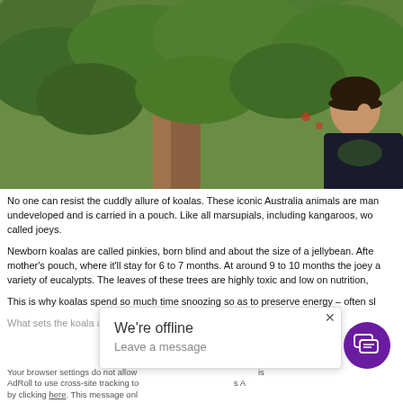[Figure (photo): Smiling young man standing in a lush green forest with tall eucalyptus trees and dense leafy foliage around him.]
No one can resist the cuddly allure of koalas. These iconic Australia animals are many undeveloped and is carried in a pouch. Like all marsupials, including kangaroos, wom called joeys.
Newborn koalas are called pinkies, born blind and about the size of a jellybean. After mother's pouch, where it'll stay for 6 to 7 months. At around 9 to 10 months the joey a variety of eucalypts. The leaves of these trees are highly toxic and low on nutrition,
This is why koalas spend so much time snoozing so as to preserve energy – often sl
What sets the koala apart from... ...ept an...
Your browser settings do not allow AdRoll to use cross-site tracking to by clicking here. This message onl
We're offline
Leave a message